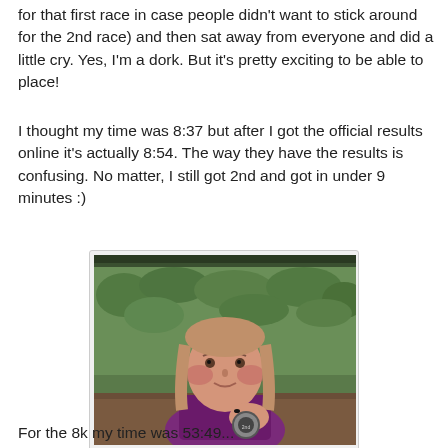for that first race in case people didn't want to stick around for the 2nd race) and then sat away from everyone and did a little cry. Yes, I'm a dork. But it's pretty exciting to be able to place!
I thought my time was 8:37 but after I got the official results online it's actually 8:54. The way they have the results is confusing. No matter, I still got 2nd and got in under 9 minutes :)
[Figure (photo): A woman in a purple tank top holding a race medal, standing in front of green hedges. She appears emotional, with red/flushed cheeks.]
For the 8k my time was 53:49...